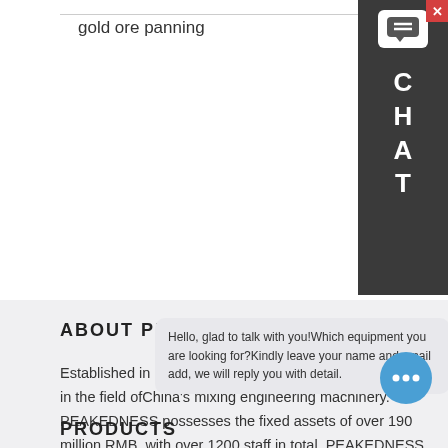gold ore panning
ABOUT PEAKEDNESS
Established in 1991,our company is a leading enterprise in the field ofChina's mixing engineering machinery. PEAKEDNESS possesses the fixed assets of over 190 million RMB, with over 1200 staff in total. PEAKEDNESS is a professional international company focusing on the development
Hello, glad to talk with you!Which equipment you are looking for?Kindly leave your name and email add, we will reply you with detail.
PRODUCTS